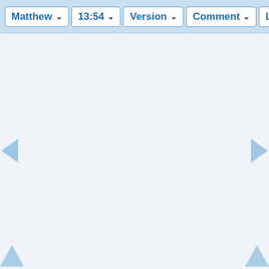[Figure (screenshot): Navigation toolbar with dropdown selectors: Matthew (book selector), 13:54 (chapter:verse selector), Version (Bible version selector), Comment (commentary selector), Lan (language selector, partially visible). Below the toolbar is a light blue/grey content area with left and right navigation arrows (triangles) on the sides, and two more triangle arrows at the bottom corners.]